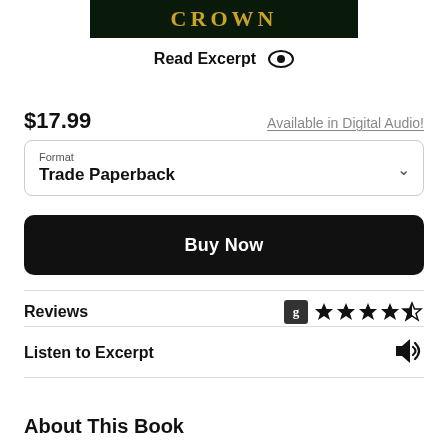[Figure (other): Book cover banner with title CROWN in gold text on dark green/black background]
Read Excerpt
$17.99
Available in Digital Audio!
Format
Trade Paperback
Buy Now
Reviews
Listen to Excerpt
About This Book